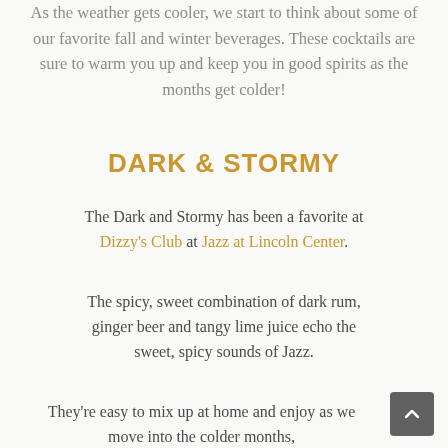As the weather gets cooler, we start to think about some of our favorite fall and winter beverages. These cocktails are sure to warm you up and keep you in good spirits as the months get colder!
DARK & STORMY
The Dark and Stormy has been a favorite at Dizzy's Club at Jazz at Lincoln Center.
The spicy, sweet combination of dark rum, ginger beer and tangy lime juice echo the sweet, spicy sounds of Jazz.
They're easy to mix up at home and enjoy as we move into the colder months,